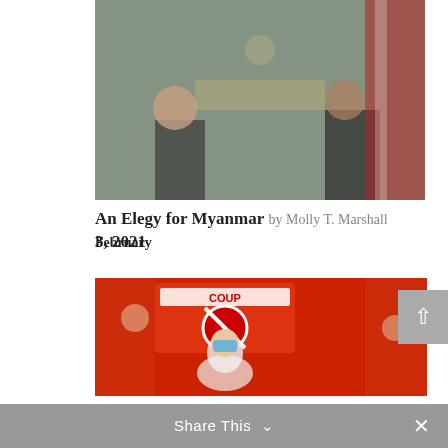[Figure (photo): Two people seated with an American flag and flowers in the background, formal diplomatic setting]
An Elegy for Myanmar by Molly T. Marshall February 3, 2021
[Figure (photo): Protest scene with a woman wearing a mask holding up hands, red sign reading NO COUP OUR LEADER, crowd in background]
A Cry for Mercy for Myanmar and a Call for Congress to Act by Scott Stearman November 10, 2021
Share This ∨  ×